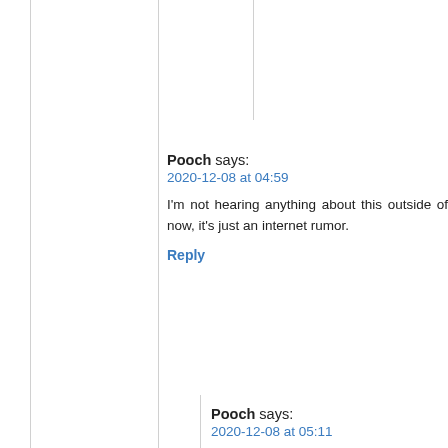Pooch says:
2020-12-08 at 04:59
I'm not hearing anything about this outside of now, it's just an internet rumor.
Reply
Pooch says:
2020-12-08 at 05:11
Never mind here's another source…
https://www.thegatewaypundit.com/2020/1 michigan-attorney-gives-behind-scenes-up county-dominion-machines/? utm_source=Twitter&utm_medium=PostTo
Says nothing about them being Flynn's t escorted the IT team to the airport.
Reply